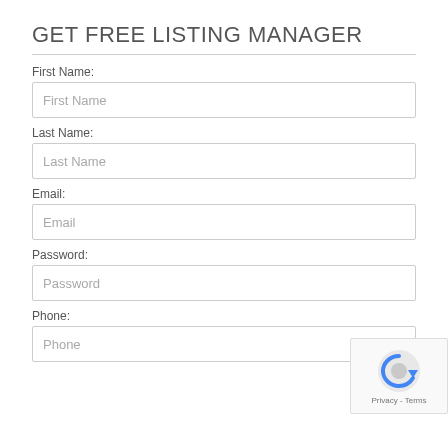GET FREE LISTING MANAGER
First Name:
First Name
Last Name:
Last Name
Email:
Email
Password:
Password
Phone:
Phone
[Figure (logo): reCAPTCHA badge with privacy and terms text]